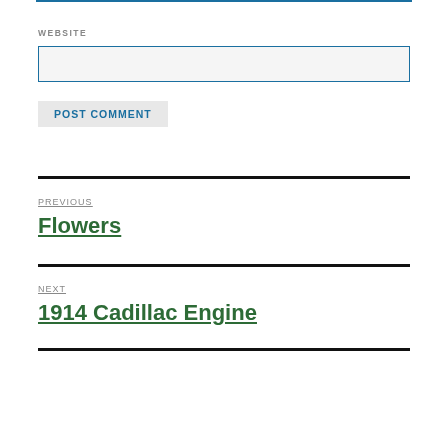WEBSITE
POST COMMENT
PREVIOUS
Flowers
NEXT
1914 Cadillac Engine